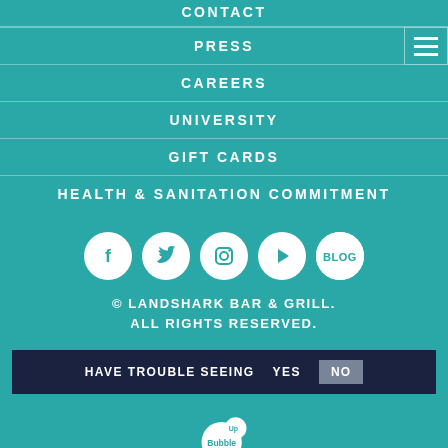CONTACT
PRESS
CAREERS
UNIVERSITY
GIFT CARDS
HEALTH & SANITATION COMMITMENT
[Figure (infographic): Row of 5 social media icons: Facebook, Twitter, Instagram, Play button, Blog — all white circles on teal background]
© LANDSHARK BAR & GRILL. ALL RIGHTS RESERVED.
HAVE TROUBLE SEEING  YES  NO
[Figure (logo): BubbleUp logo with text POWERED BY BubbleUp]